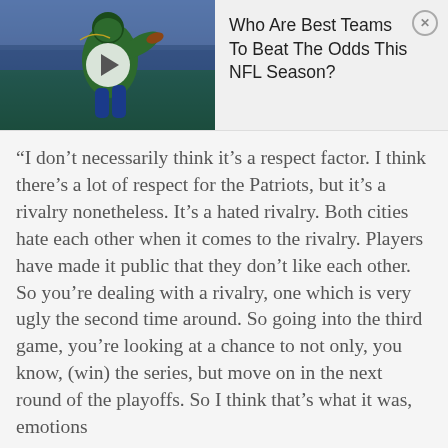[Figure (photo): NFL quarterback in green Philadelphia Eagles uniform throwing a football, with a video play button overlay. Ad banner for 'Who Are Best Teams To Beat The Odds This NFL Season?']
Who Are Best Teams To Beat The Odds This NFL Season?
“I don’t necessarily think it’s a respect factor. I think there’s a lot of respect for the Patriots, but it’s a rivalry nonetheless. It’s a hated rivalry. Both cities hate each other when it comes to the rivalry. Players have made it public that they don’t like each other. So you’re dealing with a rivalry, one which is very ugly the second time around. So going into the third game, you’re looking at a chance to not only, you know, (win) the series, but move on in the next round of the playoffs. So I think that’s what it was, emotions